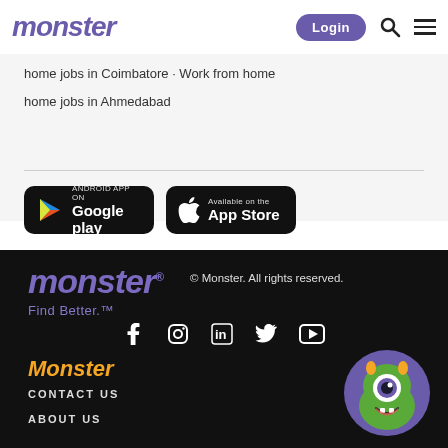monster   Login
home jobs in Coimbatore · Work from home jobs in Ahmedabad
[Figure (logo): Google Play store download button]
[Figure (logo): Apple App Store download button]
[Figure (logo): Monster logo with Find Better tagline in dark footer]
© Monster. All rights reserved.
[Figure (infographic): Social media icons: Facebook, Instagram, LinkedIn, Twitter, YouTube]
Monster
CONTACT US
ABOUT US
[Figure (illustration): Monster mascot character - green one-eyed monster with purple horns on purple circle background]